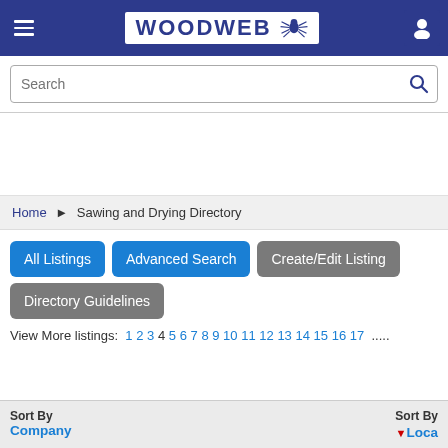WOODWEB (logo with spider icon)
Search
Home › Sawing and Drying Directory
All Listings | Advanced Search | Create/Edit Listing | Directory Guidelines
View More listings: 1 2 3 4 5 6 7 8 9 10 11 12 13 14 15 16 17 .....
Sort By Company | Sort By ▼ Loca